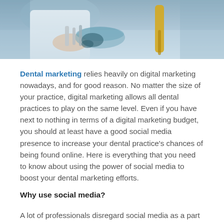[Figure (photo): Dental procedure photo showing a dentist's gloved hands working near a patient with dental tools and equipment visible]
Dental marketing relies heavily on digital marketing nowadays, and for good reason. No matter the size of your practice, digital marketing allows all dental practices to play on the same level. Even if you have next to nothing in terms of a digital marketing budget, you should at least have a good social media presence to increase your dental practice's chances of being found online. Here is everything that you need to know about using the power of social media to boost your dental marketing efforts.
Why use social media?
A lot of professionals disregard social media as a part of their marketing efforts simply because they